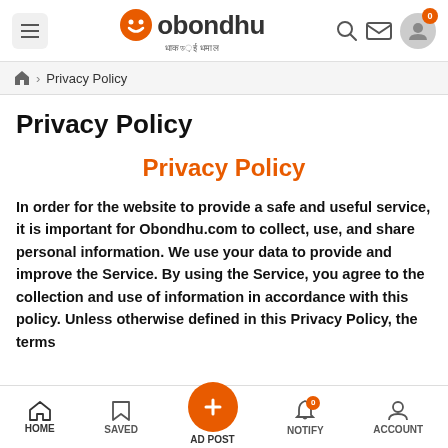obondhu — top navigation bar with hamburger menu, logo, search, mail, and account icons
Home > Privacy Policy
Privacy Policy
Privacy Policy
In order for the website to provide a safe and useful service, it is important for Obondhu.com to collect, use, and share personal information. We use your data to provide and improve the Service. By using the Service, you agree to the collection and use of information in accordance with this policy. Unless otherwise defined in this Privacy Policy, the terms
HOME   SAVED   AD POST   NOTIFY   ACCOUNT